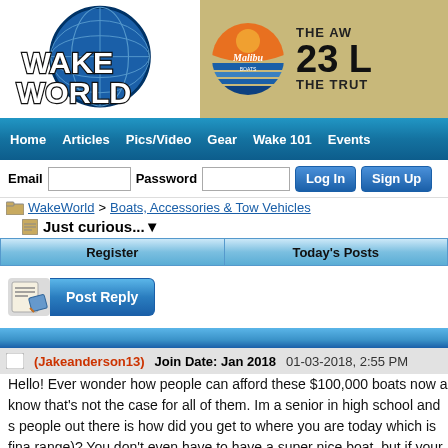[Figure (logo): WakeWorld logo - blue globe with WAKE WORLD text]
[Figure (photo): Malibu Boats advertisement banner - THE AW... 23 L... THE TRUT...]
Home   Articles   Pics/Video   Gear   Wake 101   Events
Email  Password  Log In  Sign Up
WakeWorld > Boats, Accessories & Tow Vehicles
Just curious...
Register   Today's Posts
Post Reply
(Jakeanderson13)   Join Date: Jan 2018   01-03-2018, 2:55 PM
Hello! Ever wonder how people can afford these $100,000 boats now a know that's not the case for all of them. Im a senior in high school and s people out there is how did you get to where you are today which is fina range)? You don't even have to have a super nice boat, but if your rich...